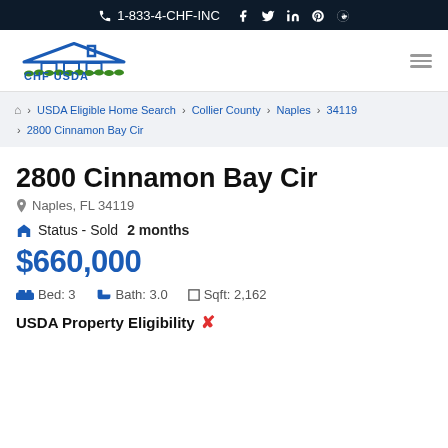1-833-4-CHF-INC
[Figure (logo): CHF USDA logo with house and grass icon]
USDA Eligible Home Search > Collier County > Naples > 34119 > 2800 Cinnamon Bay Cir
2800 Cinnamon Bay Cir
Naples, FL 34119
Status - Sold 2 months
$660,000
Bed: 3  Bath: 3.0  Sqft: 2,162
USDA Property Eligibility ✗